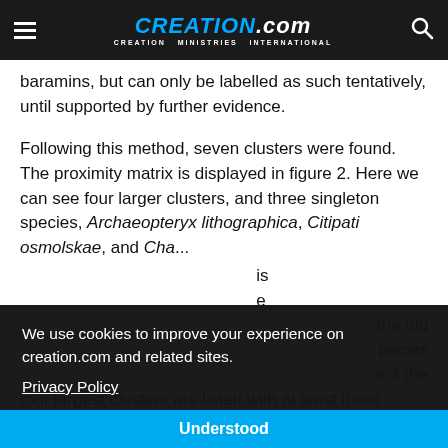CREATION.com — CREATION MINISTRIES INTERNATIONAL
baramins, but can only be labelled as such tentatively, until supported by further evidence.
Following this method, seven clusters were found. The proximity matrix is displayed in figure 2. Here we can see four larger clusters, and three singleton species, Archaeopteryx lithographica, Citipati osmolskae, and Chao…[partially obscured] …the old …species …e 3 the four largest clusters are listed with at least three
We use cookies to improve your experience on creation.com and related sites.
Privacy Policy
Understood